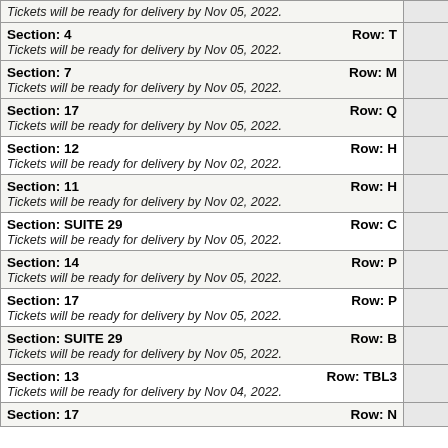| Tickets will be ready for delivery by Nov 05, 2022. |  |
| Section: 4   Row: T
Tickets will be ready for delivery by Nov 05, 2022. |  |
| Section: 7   Row: M
Tickets will be ready for delivery by Nov 05, 2022. |  |
| Section: 17   Row: Q
Tickets will be ready for delivery by Nov 05, 2022. |  |
| Section: 12   Row: H
Tickets will be ready for delivery by Nov 02, 2022. |  |
| Section: 11   Row: H
Tickets will be ready for delivery by Nov 02, 2022. |  |
| Section: SUITE 29   Row: C
Tickets will be ready for delivery by Nov 05, 2022. |  |
| Section: 14   Row: P
Tickets will be ready for delivery by Nov 05, 2022. |  |
| Section: 17   Row: P
Tickets will be ready for delivery by Nov 05, 2022. |  |
| Section: SUITE 29   Row: B
Tickets will be ready for delivery by Nov 05, 2022. |  |
| Section: 13   Row: TBL3
Tickets will be ready for delivery by Nov 04, 2022. |  |
| Section: 17   Row: N |  |